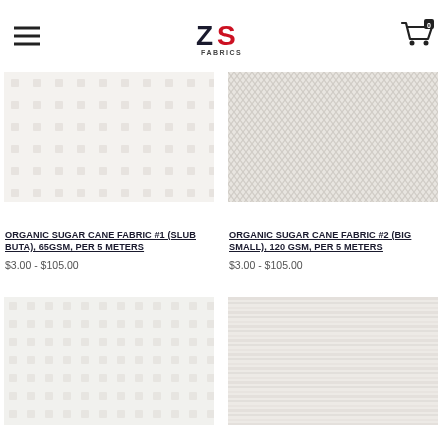ZS Fabrics — navigation header with hamburger menu and cart
[Figure (photo): Close-up of white organic sugar cane fabric with slub buta dot texture pattern]
ORGANIC SUGAR CANE FABRIC #1 (SLUB BUTA), 65GSM, PER 5 METERS
$3.00 - $105.00
[Figure (photo): Close-up of white organic sugar cane fabric with herringbone chevron pattern]
ORGANIC SUGAR CANE FABRIC #2 (BIG SMALL), 120 GSM, PER 5 METERS
$3.00 - $105.00
[Figure (photo): Close-up of white organic sugar cane fabric with subtle dot/buta texture, partially visible]
[Figure (photo): Close-up of white organic sugar cane fabric with horizontal stripe/slub texture, partially visible]